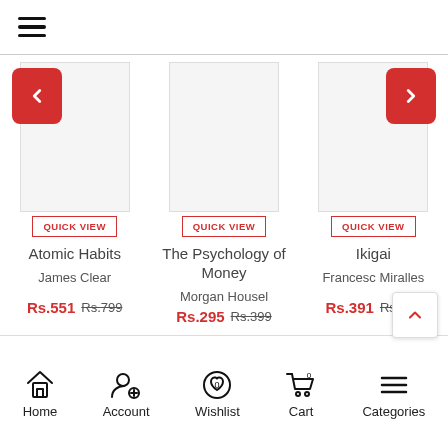[Figure (screenshot): Mobile app header with hamburger menu icon]
[Figure (screenshot): Book carousel showing three book covers: Atomic Habits, The Psychology of Money, Ikigai with navigation arrows and QUICK VIEW buttons]
Atomic Habits
James Clear
Rs.551 Rs.799
The Psychology of Money
Morgan Housel
Rs.295 Rs.399
Ikigai
Francesc Miralles
Rs.391 Rs.550
Home | Account | Wishlist | Cart | Categories